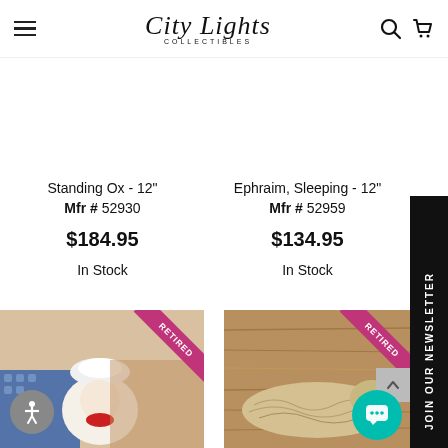City Lights Collectibles
Standing Ox - 12"
Mfr # 52930
$184.95
In Stock
Ephraim, Sleeping - 12"
Mfr # 52959
$134.95
In Stock
JOIN OUR NEWSLETTER
[Figure (photo): Holiday/Christmas collectible figurine with white feathery hat and red bow ribbon, surrounded by wrapped gift boxes]
[Figure (photo): Animal collectible figurine (ox or sheep) lying on a wooden surface]